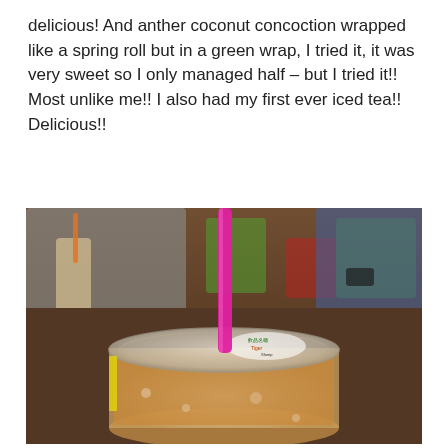delicious! And anther coconut concoction wrapped like a spring roll but in a green wrap, I tried it, it was very sweet so I only managed half – but I tried it!! Most unlike me!! I also had my first ever iced tea!! Delicious!!
[Figure (photo): Close-up photo of a sealed plastic cup of iced tea with a bright pink straw on a wooden table. In the background is a person in a grey shirt with an orange straw drink, and colorful chairs.]